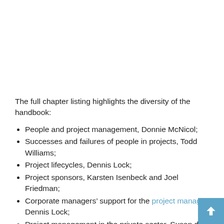The full chapter listing highlights the diversity of the handbook:
People and project management, Donnie McNicol;
Successes and failures of people in projects, Todd Williams;
Project lifecycles, Dennis Lock;
Project sponsors, Karsten Isenbeck and Joel Friedman;
Corporate managers' support for the project manager, Dennis Lock;
Project management in the private sector, Susan de Sousa;